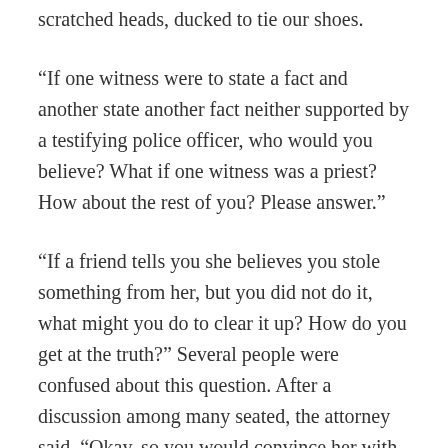scratched heads, ducked to tie our shoes.
“If one witness were to state a fact and another state another fact neither supported by a testifying police officer, who would you believe? What if one witness was a priest? How about the rest of you? Please answer.”
“If a friend tells you she believes you stole something from her, but you did not do it, what might you do to clear it up? How do you get at the truth?” Several people were confused about this question. After a discussion among many seated, the attorney said, “Okay, so you would convince her with evidence or tell her what might have happened and get to the truth. This, the attorney explained is not what happens in this court case a criminal case, not a civil case, remember. The burden of proof is